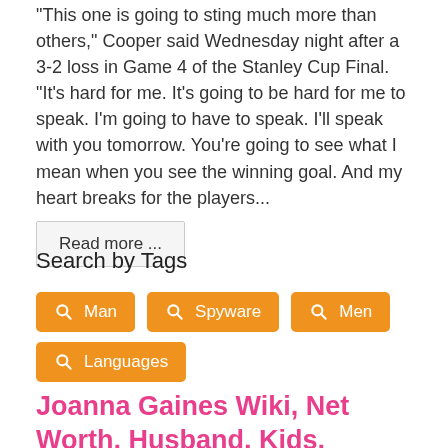"This one is going to sting much more than others," Cooper said Wednesday night after a 3-2 loss in Game 4 of the Stanley Cup Final. "It's hard for me. It's going to be hard for me to speak. I'm going to have to speak. I'll speak with you tomorrow. You're going to see what I mean when you see the winning goal. And my heart breaks for the players..."
Read more ...
Search by Tags
Man
Spyware
Men
Languages
Joanna Gaines Wiki, Net Worth, Husband, Kids, House, Age,